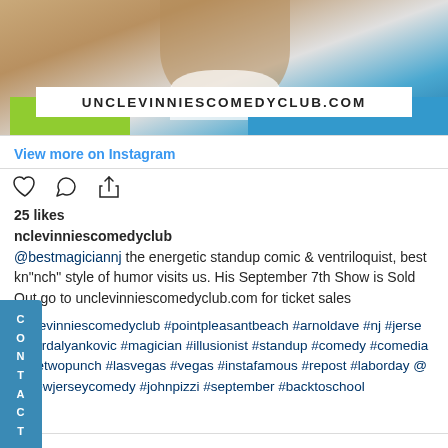[Figure (photo): Instagram post photo showing a person, with a white banner overlay reading UNCLEVINNIESCOMEDYCLUB.COM]
View more on Instagram
25 likes
unclevinniescomedyclub
@bestmagiciannj the energetic standup comic & ventriloquist, best kn"nch" style of humor visits us. His September 7th Show is Sold Out go to unclevinniescomedyclub.com for ticket sales
#unclevinniescomedyclub #pointpleasantbeach #arnoldave #nj #jersey #weirdalyankovic #magician #illusionist #standup #comedy #comedia #onetwopunch #lasvegas #vegas #instafamous #repost #laborday @newjerseycomedy #johnpizzi #september #backtoschool